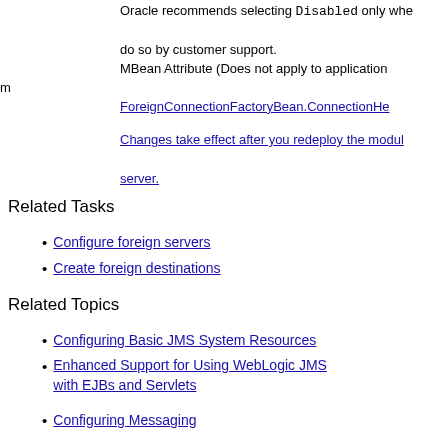Oracle recommends selecting Disabled only when instructed to do so by customer support.
MBean Attribute (Does not apply to application modules): ForeignConnectionFactoryBean.ConnectionHe…
Changes take effect after you redeploy the module or restart the server.
Related Tasks
Configure foreign servers
Create foreign destinations
Related Topics
Configuring Basic JMS System Resources
Enhanced Support for Using WebLogic JMS with EJBs and Servlets
Configuring Messaging